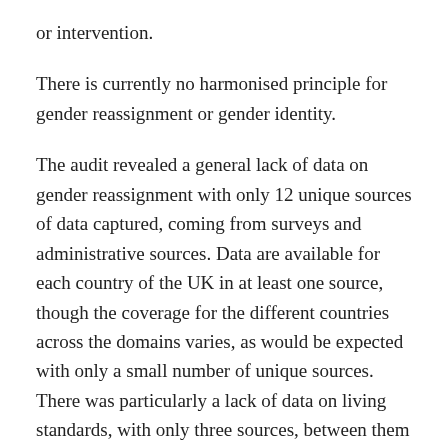or intervention.
There is currently no harmonised principle for gender reassignment or gender identity.
The audit revealed a general lack of data on gender reassignment with only 12 unique sources of data captured, coming from surveys and administrative sources. Data are available for each country of the UK in at least one source, though the coverage for the different countries across the domains varies, as would be expected with only a small number of unique sources. There was particularly a lack of data on living standards, with only three sources, between them